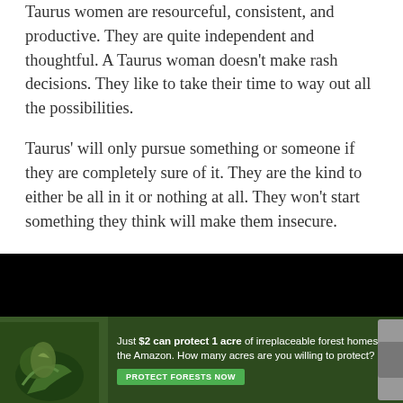Taurus women are resourceful, consistent, and productive. They are quite independent and thoughtful. A Taurus woman doesn't make rash decisions. They like to take their time to way out all the possibilities.
Taurus' will only pursue something or someone if they are completely sure of it. They are the kind to either be all in it or nothing at all. They won't start something they think will make them insecure.
[Figure (photo): A dark/black image area (video or photo placeholder) with a forest-themed advertisement banner at the bottom. The ad reads: 'Just $2 can protect 1 acre of irreplaceable forest homes in the Amazon. How many acres are you willing to protect?' with a green 'PROTECT FORESTS NOW' button and a bird illustration on the left.]